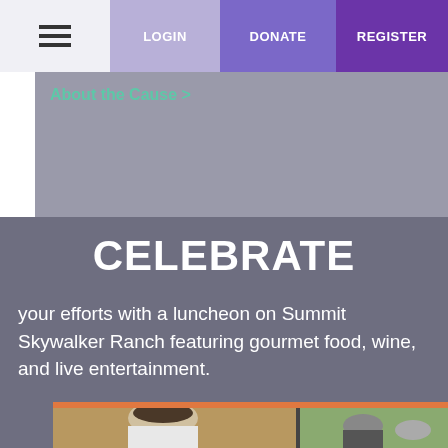☰  LOGIN  DONATE  REGISTER
About the Cause >
CELEBRATE
your efforts with a luncheon on Summit Skywalker Ranch featuring gourmet food, wine, and live entertainment.
[Figure (photo): A bearded man in a white shirt leaning forward outdoors, with trees and another person visible in the background]